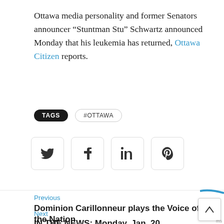Ottawa media personality and former Senators announcer “Stuntman Stu” Schwartz announced Monday that his leukemia has returned, Ottawa Citizen reports.
TAGS  #OTTAWA
[Figure (other): Social share buttons: Twitter (bird icon), Facebook (f icon), LinkedIn (in icon), Pinterest (P icon)]
Previous
Dominion Carillonneur plays the Voice of the Nation
Next
IN THE NEWS: Monday, Jan. 20